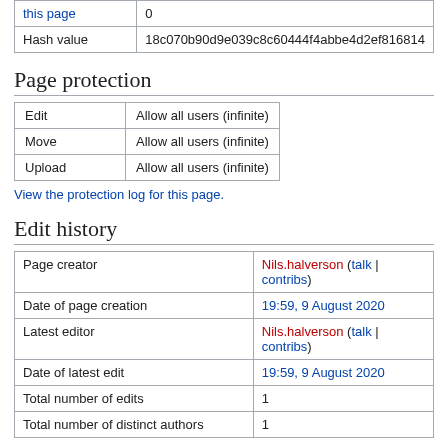| this page | 0 |
| Hash value | 18c070b90d9e039c8c60444f4abbe4d2ef816814 |
Page protection
| Edit | Allow all users (infinite) |
| Move | Allow all users (infinite) |
| Upload | Allow all users (infinite) |
View the protection log for this page.
Edit history
| Page creator | Nils.halverson (talk | contribs) |
| Date of page creation | 19:59, 9 August 2020 |
| Latest editor | Nils.halverson (talk | contribs) |
| Date of latest edit | 19:59, 9 August 2020 |
| Total number of edits | 1 |
| Total number of distinct authors | 1 |